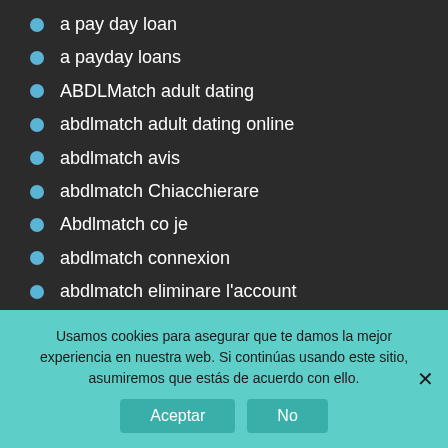a pay day loan
a payday loans
ABDLMatch adult dating
abdlmatch adult dating online
abdlmatch avis
abdlmatch Chiacchierare
Abdlmatch co je
abdlmatch connexion
abdlmatch eliminare l'account
Abdlmatch es gratis?
Usamos cookies para asegurar que te damos la mejor experiencia en nuestra web. Si continúas usando este sitio, asumiremos que estás de acuerdo con ello.